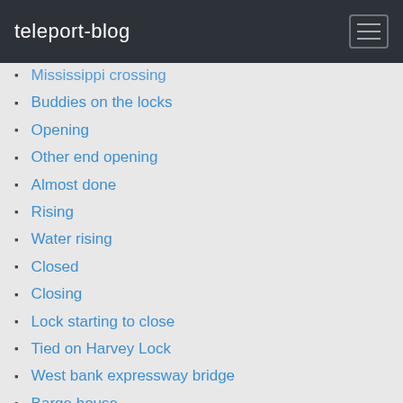teleport-blog
Mississippi crossing
Buddies on the locks
Opening
Other end opening
Almost done
Rising
Water rising
Closed
Closing
Lock starting to close
Tied on Harvey Lock
West bank expressway bridge
Barge house
Finally
Made it
Open sesame
Lapalco bascule lift bridge
Contact bridge
Sandblasting
Floodgates
91